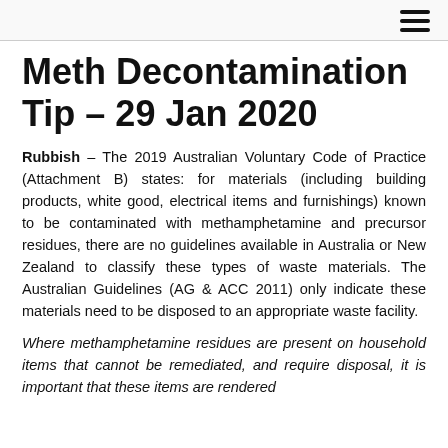≡ (hamburger menu icon)
Meth Decontamination Tip – 29 Jan 2020
Rubbish – The 2019 Australian Voluntary Code of Practice (Attachment B) states: for materials (including building products, white good, electrical items and furnishings) known to be contaminated with methamphetamine and precursor residues, there are no guidelines available in Australia or New Zealand to classify these types of waste materials. The Australian Guidelines (AG & ACC 2011) only indicate these materials need to be disposed to an appropriate waste facility.
Where methamphetamine residues are present on household items that cannot be remediated, and require disposal, it is important that these items are rendered